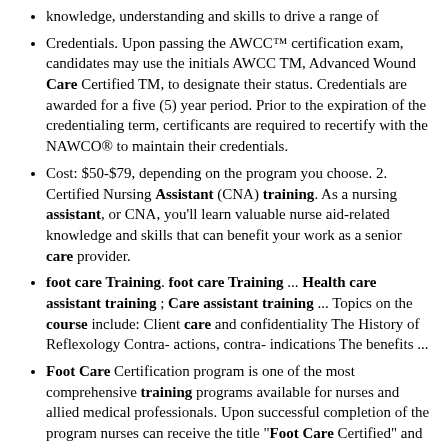knowledge, understanding and skills to drive a range of
Credentials. Upon passing the AWCC™ certification exam, candidates may use the initials AWCC TM, Advanced Wound Care Certified TM, to designate their status. Credentials are awarded for a five (5) year period. Prior to the expiration of the credentialing term, certificants are required to recertify with the NAWCO® to maintain their credentials.
Cost: $50-$79, depending on the program you choose. 2. Certified Nursing Assistant (CNA) training. As a nursing assistant, or CNA, you'll learn valuable nurse aid-related knowledge and skills that can benefit your work as a senior care provider.
foot care Training. foot care Training ... Health care assistant training ; Care assistant training ... Topics on the course include: Client care and confidentiality The History of Reflexology Contra- actions, contra- indications The benefits ...
Foot Care Certification program is one of the most comprehensive training programs available for nurses and allied medical professionals. Upon successful completion of the program nurses can receive the title "Foot Care Certified" and other Allied medical professionals can utilize the title as a "Foot Care Certified" professional.